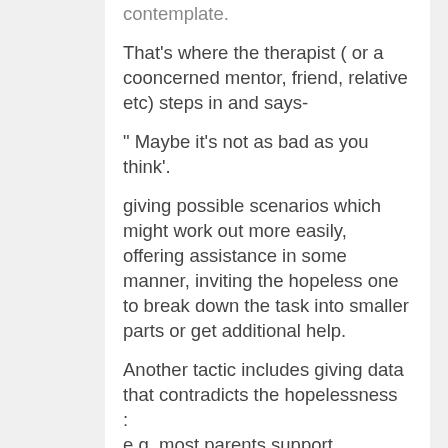contemplate.
That's where the therapist ( or a cooncerned mentor, friend, relative etc) steps in and says-
" Maybe it's not as bad as you think'.
giving possible scenarios which might work out more easily, offering assistance in some manner, inviting the hopeless one to break down the task into smaller parts or get additional help.
Another tactic includes giving data that contradicts the hopelessness
:
e.g. most parents support vaccination and vaccinate their children
the anti-vaxxers seem numerous because they are LOUDER and post their swill everywhere. Some loons like DJT even give them a platform which winds up on television and in the news. SBM supporters read websites and blogs that showcase the loonies ( AoA, TMR, Jake et al) in order to debunk them and ridicule them